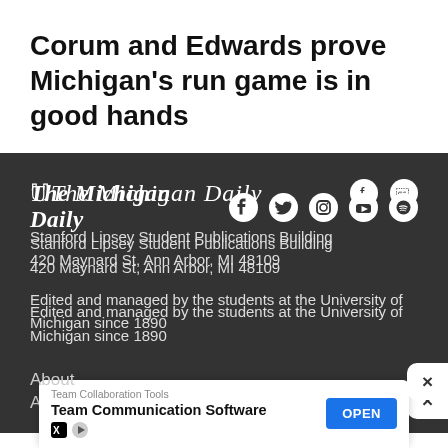Corum and Edwards prove Michigan's run game is in good hands
[Figure (logo): The Michigan Daily logo in blackletter/Old English style, white text on dark background, with social media icons (Facebook, Twitter, Instagram, YouTube, Spotify) in white circles to the right]
Stanford Lipsey Student Publications Building
420 Maynard St, Ann Arbor, MI 48109
Edited and managed by the students at the University of Michigan since 1890
About
[Figure (screenshot): Advertisement banner: Team Collaboration Tools - Team Communication Software with OPEN button, X and play icon at bottom left]